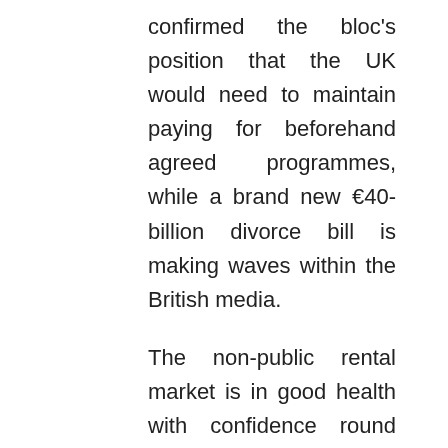confirmed the bloc's position that the UK would need to maintain paying for beforehand agreed programmes, while a brand new €40-billion divorce bill is making waves within the British media.
The non-public rental market is in good health with confidence round business expectations for the UK Monetary Market operating 5 occasions larger than this time in 2012. Social media marketers level out a number of the greatest (and costliest) errors corporations make when utilizing Fb, Twitter, Instagram and Pinterest – and provide recommendation on learn how to avoid making these social faux pas.